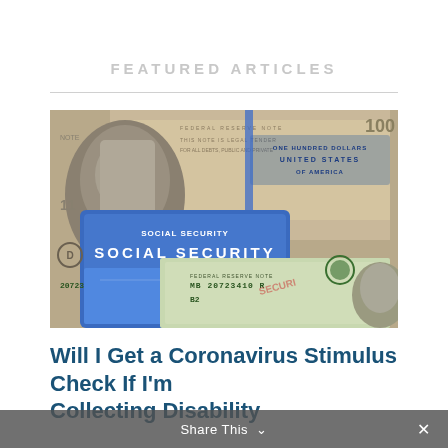FEATURED ARTICLES
[Figure (photo): A Social Security card overlaid on top of $100 US Federal Reserve notes, showing serial number MB 20723410 R and B2, along with other bill details.]
Will I Get a Coronavirus Stimulus Check If I'm Collecting Disability
Share This